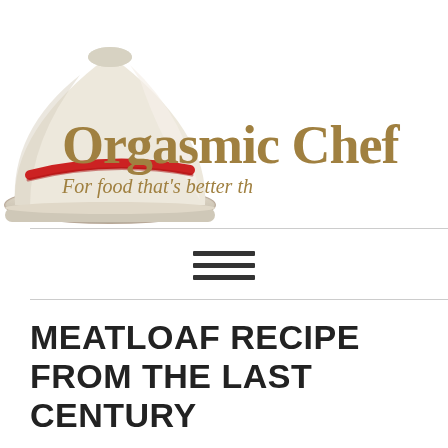[Figure (logo): Orgasmic Chef website logo with a cloche dish cover illustration in cream/white with a red stripe, and site name 'Orgasmic Chef' in gold/olive serif font with tagline 'For food that's better th[an sex]']
MEATLOAF RECIPE FROM THE LAST CENTURY
May 18, 2015 by Maureen — 32 Comments